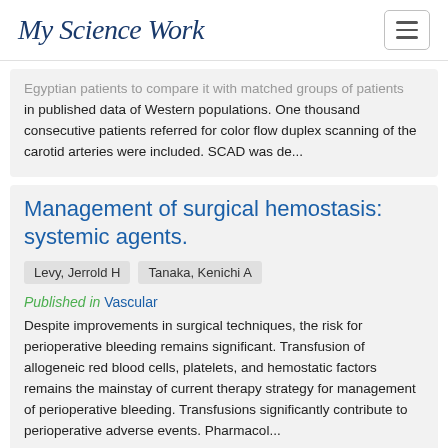My Science Work
Egyptian patients to compare it with matched groups of patients in published data of Western populations. One thousand consecutive patients referred for color flow duplex scanning of the carotid arteries were included. SCAD was de...
Management of surgical hemostasis: systemic agents.
Levy, Jerrold H   Tanaka, Kenichi A
Published in Vascular
Despite improvements in surgical techniques, the risk for perioperative bleeding remains significant. Transfusion of allogeneic red blood cells, platelets, and hemostatic factors remains the mainstay of current therapy strategy for management of perioperative bleeding. Transfusions significantly contribute to perioperative adverse events. Pharmacol...